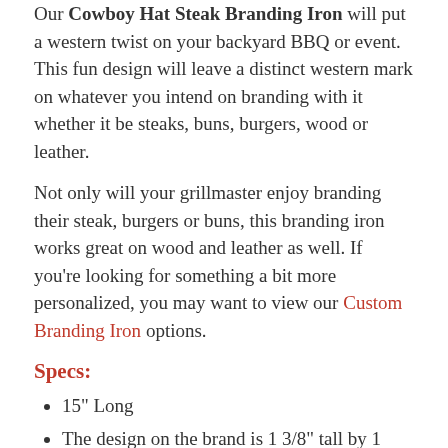Our Cowboy Hat Steak Branding Iron will put a western twist on your backyard BBQ or event. This fun design will leave a distinct western mark on whatever you intend on branding with it whether it be steaks, buns, burgers, wood or leather.
Not only will your grillmaster enjoy branding their steak, burgers or buns, this branding iron works great on wood and leather as well. If you're looking for something a bit more personalized, you may want to view our Custom Branding Iron options.
Specs:
15" Long
The design on the brand is 1 3/8" tall by 1 3/4" wide
Easily heated on an open flame, charcoal or ideally, a small butane torch
Made of food grade stainless steel so it's safe on food